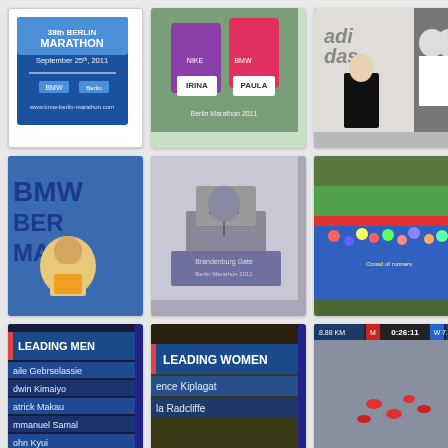[Figure (photo): Berlin Marathon logo - September 25th, 2011, BMW Berlin Marathon branding in blue and white]
[Figure (photo): Two women posing with BMW Berlin Marathon race bibs labeled IRINA and PAULA, one in purple and one in pink shirt]
[Figure (photo): Person in Adidas gear with Stormtrooper costume in background, adidas branding visible]
[Figure (photo): Man in yellow tank top posing in front of large BMW Berlin Marathon banner]
[Figure (photo): Brandenburg Gate in misty/foggy conditions during marathon]
[Figure (photo): Large crowd of marathon runners on a tree-lined boulevard]
[Figure (photo): TV broadcast screenshot showing LEADING MEN leaderboard with runners: Gebrselassie, Kimaiyo, Makau, Samal, Kyui]
[Figure (photo): TV broadcast screenshot showing LEADING WOMEN leaderboard with: Kiplagat, Radcliffe]
[Figure (photo): Aerial TV broadcast view showing 0:26:11, runners on road, 8.88 KM M marker, 7.88 KM W marker]
[Figure (photo): TV broadcast screenshot showing LEADING WOMEN with Kiplagat listed]
[Figure (photo): Marathon runners on road from overhead/side view]
[Figure (photo): TV broadcast screenshot showing LEADING MEN with Gebrselassie listed]